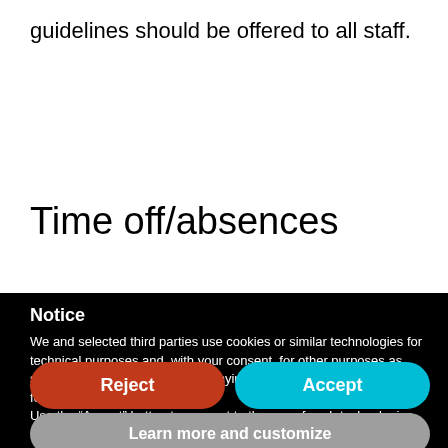guidelines should be offered to all staff.
Time off/absences
Notice
We and selected third parties use cookies or similar technologies for technical purposes and, with your consent, for other purposes as specified in the cookie policy. Denying consent may make related features unavailable.
Use the “Accept” button to consent to the use of such technologies. Use the “Reject” button to continue without accepting.
Reject
Accept
Learn more and customize